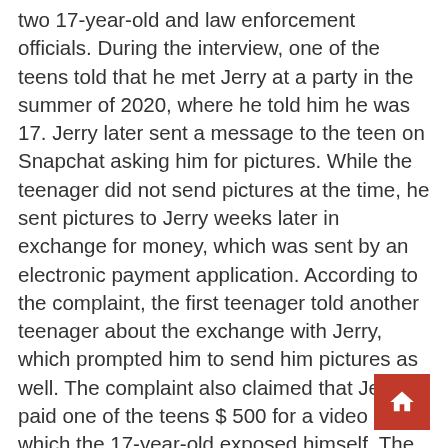two 17-year-old and law enforcement officials. During the interview, one of the teens told that he met Jerry at a party in the summer of 2020, where he told him he was 17. Jerry later sent a message to the teen on Snapchat asking him for pictures. While the teenager did not send pictures at the time, he sent pictures to Jerry weeks later in exchange for money, which was sent by an electronic payment application. According to the complaint, the first teenager told another teenager about the exchange with Jerry, which prompted him to send him pictures as well. The complaint also claimed that Jerry paid one of the teens $ 500 for a video call in which the 17-year-old exposed himself. The teenager claimed that Jerry continued to send him messages all summer and paid him between $ 2,000 to $ 3,000 before sending him $ 500 on August 22, 2020 to end the relationship and block him on Snapchat.